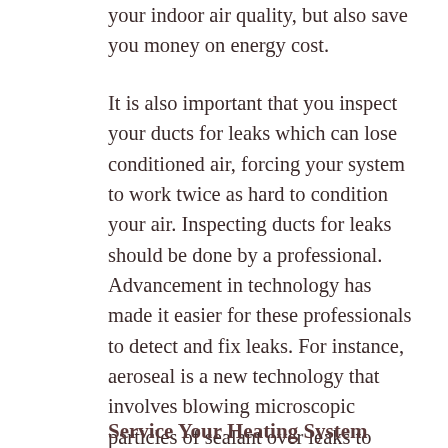your indoor air quality, but also save you money on energy cost.
It is also important that you inspect your ducts for leaks which can lose conditioned air, forcing your system to work twice as hard to condition your air. Inspecting ducts for leaks should be done by a professional. Advancement in technology has made it easier for these professionals to detect and fix leaks. For instance, aeroseal is a new technology that involves blowing microscopic particles of sealant over leaks to tightly seal them. It will cost you around $1,500 to seal leaks using this technology, and save you more on energy cost yearly.
Service Your Heating System